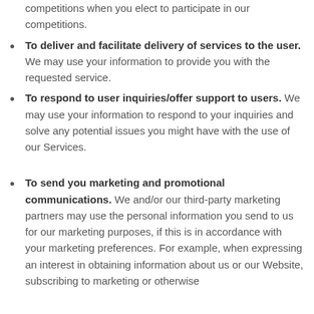competitions when you elect to participate in our competitions.
To deliver and facilitate delivery of services to the user. We may use your information to provide you with the requested service.
To respond to user inquiries/offer support to users. We may use your information to respond to your inquiries and solve any potential issues you might have with the use of our Services.
To send you marketing and promotional communications. We and/or our third-party marketing partners may use the personal information you send to us for our marketing purposes, if this is in accordance with your marketing preferences. For example, when expressing an interest in obtaining information about us or our Website, subscribing to marketing or otherwise